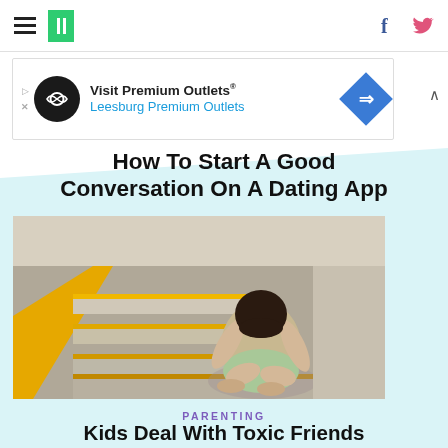HuffPost navigation with hamburger menu, logo, Facebook and Twitter icons
[Figure (illustration): Advertisement banner: Visit Premium Outlets® Leesburg Premium Outlets with logo and diamond directional icon]
How To Start A Good Conversation On A Dating App
[Figure (photo): A girl/young person sitting hunched over on yellow-railed stairs, head down on knees, in distress]
PARENTING
Kids Deal With Toxic Friends Too. Here's What Parents